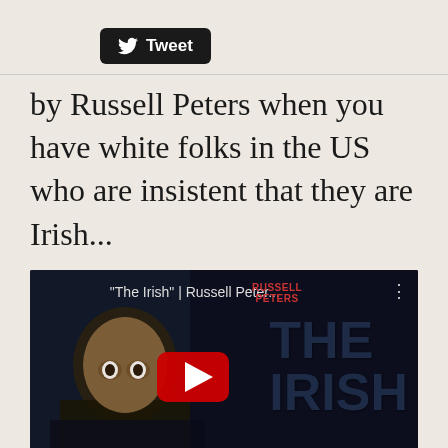[Figure (screenshot): Twitter Tweet button with bird logo on dark/black rounded rectangle background]
by Russell Peters when you have white folks in the US who are insistent that they are Irish...
[Figure (screenshot): YouTube video thumbnail for 'The Irish' | Russell Peter... by Russell Peters - The Green Card Tour. Shows comedian's face on dark background with large red YouTube play button, 'THE IRISH' text in dark blue, and 'THE GREEN CARD TOUR' label at bottom right.]
Though nobody in their family